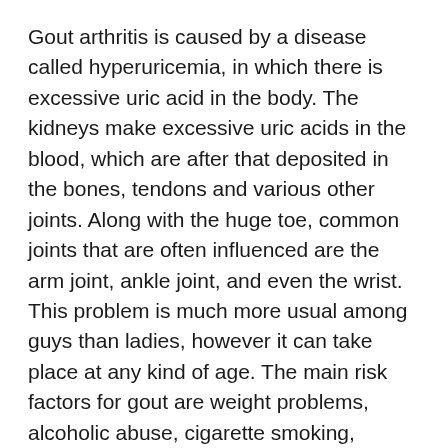Gout arthritis is caused by a disease called hyperuricemia, in which there is excessive uric acid in the body. The kidneys make excessive uric acids in the blood, which are after that deposited in the bones, tendons and various other joints. Along with the huge toe, common joints that are often influenced are the arm joint, ankle joint, and even the wrist. This problem is much more usual among guys than ladies, however it can take place at any kind of age. The main risk factors for gout are weight problems, alcoholic abuse, cigarette smoking, hypertension, poor diet regimen and also consuming practices and a family history of the illness.